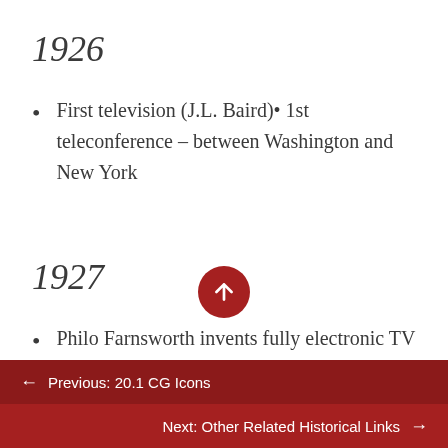1926
First television (J.L. Baird)• 1st teleconference – between Washington and New York
1927
Philo Farnsworth invents fully electronic TV (First all-electronic TV is made by RCA in 1932)• Motion picture film standardized
← Previous: 20.1 CG Icons
Next: Other Related Historical Links →